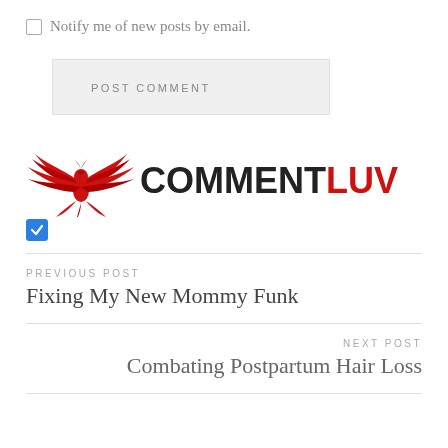Notify me of new posts by email.
POST COMMENT
[Figure (logo): CommentLuv logo: red phoenix bird with wings and 'COMMENTLUV' text, with a blue checked checkbox below]
PREVIOUS POST
Fixing My New Mommy Funk
NEXT POST
Combating Postpartum Hair Loss